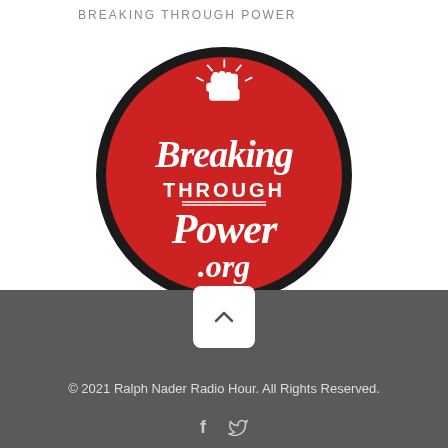BREAKING THROUGH POWER
[Figure (logo): Breaking Through Power .org circular logo — red circle with thick black border, white raised fist at top with rays, cursive white text reading 'Breaking Through Power .org']
[Figure (other): White rounded-rectangle button with upward-pointing caret/arrow icon for scrolling to top]
© 2021 Ralph Nader Radio Hour. All Rights Reserved.
[Figure (other): Social media icons: Facebook (f) and Twitter (bird) in light grey on dark grey footer background]